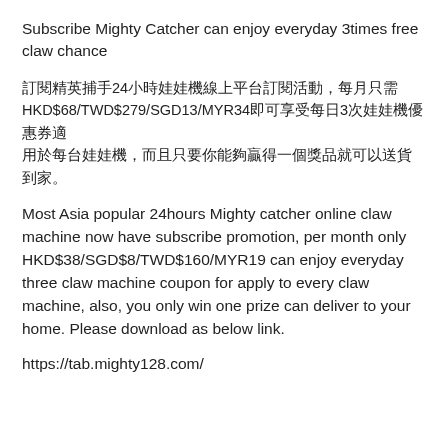Subscribe Mighty Catcher can enjoy everyday 3times free claw chance
訂閱精英捕手24小時娃娃機線上平台訂閱活動，每月只需
HKD$68/TWD$279/SGD13/MYR34即可享受每日3次娃娃機優惠券適
用於每台娃娃機，而且只要你能夠贏得一個獎品就可以送貨到家。
Most Asia popular 24hours Mighty catcher online claw machine now have subscribe promotion, per month only HKD$38/SGD$8/TWD$160/MYR19 can enjoy everyday three claw machine coupon for apply to every claw machine, also, you only win one prize can deliver to your home. Please download as below link.
https://tab.mighty128.com/